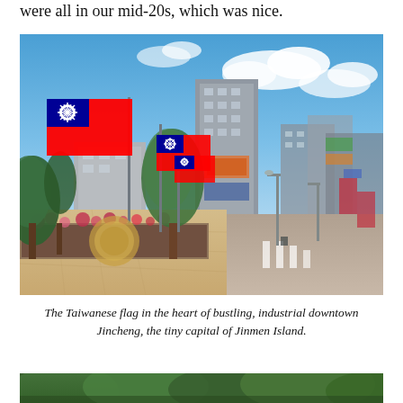were all in our mid-20s, which was nice.
[Figure (photo): Street scene in Jincheng, Jinmen Island, Taiwan. Taiwanese flags line a wide pedestrian median with flower planters and trees. Tall commercial buildings with signage visible in the background. Blue sky with scattered clouds. Road visible on the right side.]
The Taiwanese flag in the heart of bustling, industrial downtown Jincheng, the tiny capital of Jinmen Island.
[Figure (photo): Partial view of another photo at the bottom of the page, showing trees and a landscape scene.]